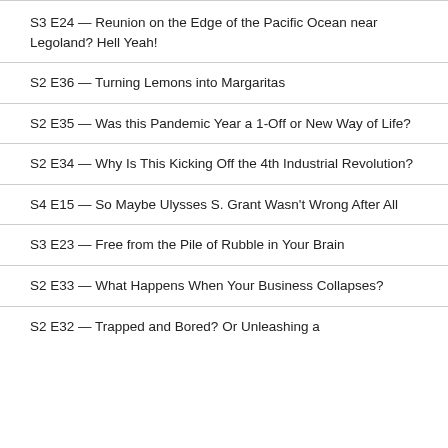S3 E24 — Reunion on the Edge of the Pacific Ocean near Legoland? Hell Yeah!
S2 E36 — Turning Lemons into Margaritas
S2 E35 — Was this Pandemic Year a 1-Off or New Way of Life?
S2 E34 — Why Is This Kicking Off the 4th Industrial Revolution?
S4 E15 — So Maybe Ulysses S. Grant Wasn't Wrong After All
S3 E23 — Free from the Pile of Rubble in Your Brain
S2 E33 — What Happens When Your Business Collapses?
S2 E32 — Trapped and Bored? Or Unleashing a